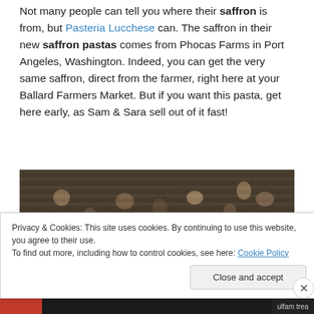Not many people can tell you where their saffron is from, but Pasteria Lucchese can. The saffron in their new saffron pastas comes from Phocas Farms in Port Angeles, Washington. Indeed, you can get the very same saffron, direct from the farmer, right here at your Ballard Farmers Market. But if you want this pasta, get here early, as Sam & Sara sell out of it fast!
[Figure (photo): Close-up photograph of a pile of morel mushrooms, showing their distinctive honeycomb-like texture and dark brown color.]
Privacy & Cookies: This site uses cookies. By continuing to use this website, you agree to their use.
To find out more, including how to control cookies, see here: Cookie Policy